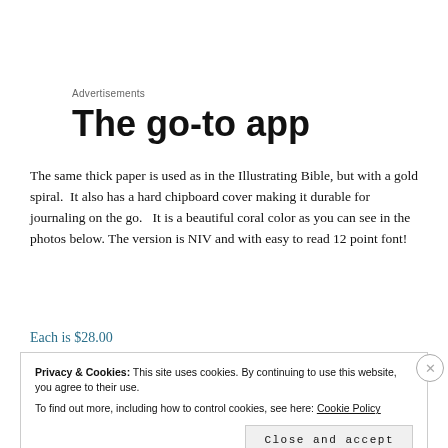Advertisements
The go-to app
The same thick paper is used as in the Illustrating Bible, but with a gold spiral.  It also has a hard chipboard cover making it durable for journaling on the go.   It is a beautiful coral color as you can see in the photos below. The version is NIV and with easy to read 12 point font!
Each is $28.00
Privacy & Cookies: This site uses cookies. By continuing to use this website, you agree to their use.
To find out more, including how to control cookies, see here: Cookie Policy
Close and accept